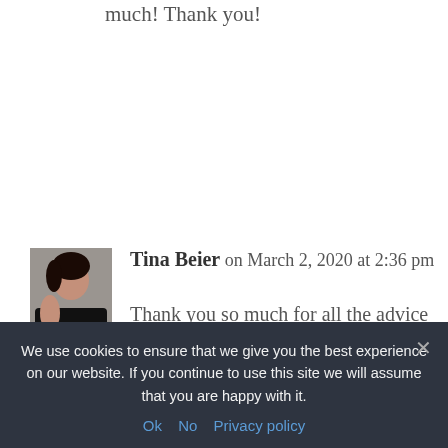much! Thank you!
[Figure (photo): Profile photo of Tina Beier, a woman with dark hair wearing a black top]
Tina Beier on March 2, 2020 at 2:36 pm
Thank you so much for all the advice and tips! I am getting ready to self-publish my novel in May and it's wonderful to see that while I was on the right track (I have a professional cover designer and editor), there were major opportunities I would have missed when it comes to
We use cookies to ensure that we give you the best experience on our website. If you continue to use this site we will assume that you are happy with it. Ok No Privacy policy